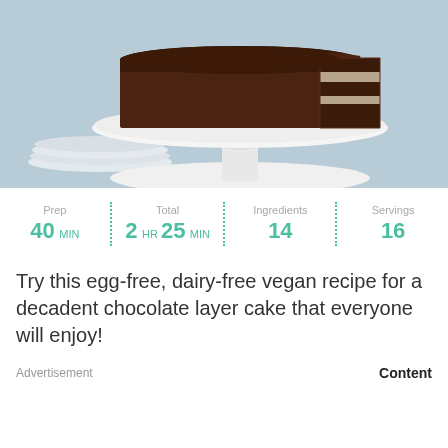[Figure (photo): A chocolate layer cake with dark frosting on a white cake stand, with a slice removed revealing the layers. Blue background with stacked white plates visible.]
Prep 40 MIN | Total 2 HR 25 MIN | Ingredients 14 | Servings 16
Try this egg-free, dairy-free vegan recipe for a decadent chocolate layer cake that everyone will enjoy!
Advertisement
Content